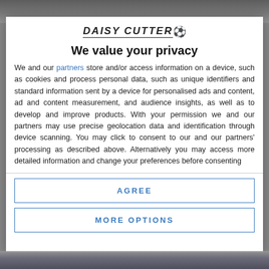[Figure (photo): Blurred background photo visible at top and bottom of the page behind the privacy modal]
[Figure (logo): DAISY CUTTER logo with soccer ball emoji, stylized italic bold uppercase text with underline]
We value your privacy
We and our partners store and/or access information on a device, such as cookies and process personal data, such as unique identifiers and standard information sent by a device for personalised ads and content, ad and content measurement, and audience insights, as well as to develop and improve products. With your permission we and our partners may use precise geolocation data and identification through device scanning. You may click to consent to our and our partners' processing as described above. Alternatively you may access more detailed information and change your preferences before consenting
AGREE
MORE OPTIONS